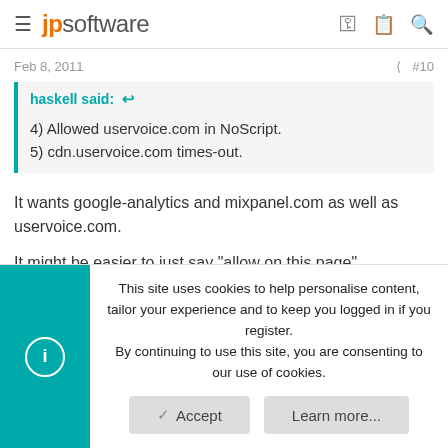jpsoftware
Feb 8, 2011  #10
haskell said: ↩
4) Allowed uservoice.com in NoScript.
5) cdn.uservoice.com times-out.
It wants google-analytics and mixpanel.com as well as uservoice.com.
It might be easier to just say "allow on this page".
This site uses cookies to help personalise content, tailor your experience and to keep you logged in if you register.
By continuing to use this site, you are consenting to our use of cookies.